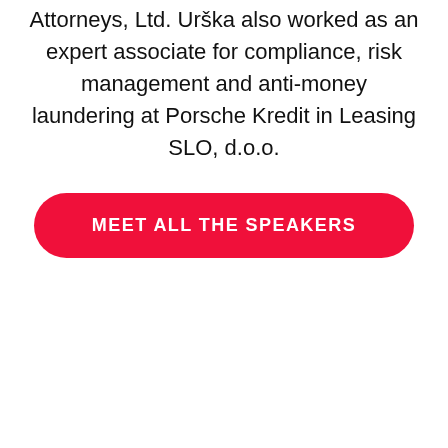Attorneys, Ltd. Urška also worked as an expert associate for compliance, risk management and anti-money laundering at Porsche Kredit in Leasing SLO, d.o.o.
[Figure (other): A red rounded rectangle button with white uppercase text: MEET ALL THE SPEAKERS]